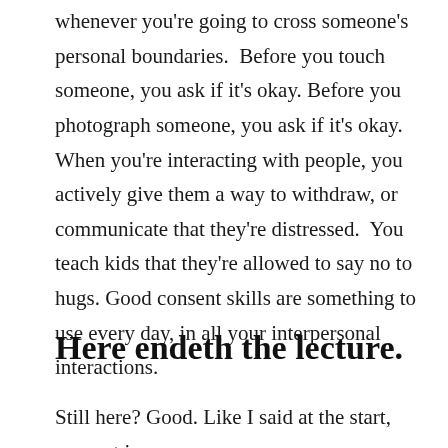whenever you're going to cross someone's personal boundaries.  Before you touch someone, you ask if it's okay. Before you photograph someone, you ask if it's okay. When you're interacting with people, you actively give them a way to withdraw, or communicate that they're distressed.  You teach kids that they're allowed to say no to hugs. Good consent skills are something to use every day, in all your interpersonal interactions.
Here endeth the lecture.
Still here? Good. Like I said at the start, consent is